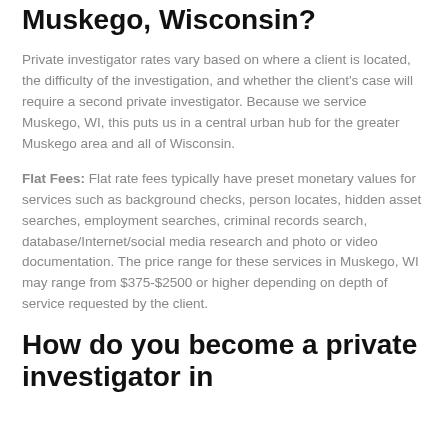Muskego, Wisconsin?
Private investigator rates vary based on where a client is located, the difficulty of the investigation, and whether the client's case will require a second private investigator. Because we service Muskego, WI, this puts us in a central urban hub for the greater Muskego area and all of Wisconsin.
Flat Fees: Flat rate fees typically have preset monetary values for services such as background checks, person locates, hidden asset searches, employment searches, criminal records search, database/Internet/social media research and photo or video documentation. The price range for these services in Muskego, WI may range from $375-$2500 or higher depending on depth of service requested by the client.
How do you become a private investigator in